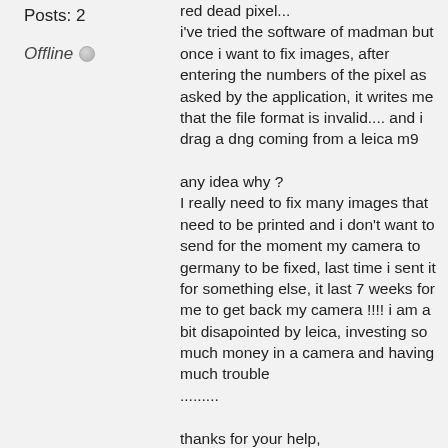Posts: 2
Offline
red dead pixel...
i've tried the software of madman but once i want to fix images, after entering the numbers of the pixel as asked by the application, it writes me that the file format is invalid.... and i drag a dng coming from a leica m9

any idea why ?
I really need to fix many images that need to be printed and i don't want to send for the moment my camera to germany to be fixed, last time i sent it for something else, it last 7 weeks for me to get back my camera !!!! i am a bit disapointed by leica, investing so much money in a camera and having much trouble
.........

thanks for your help,

Noam